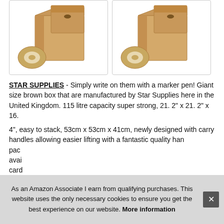[Figure (photo): Two cardboard moving boxes with tape rolls, shown side by side in two separate image panels with thin borders.]
STAR SUPPLIES - Simply write on them with a marker pen! Giant size brown box that are manufactured by Star Supplies here in the United Kingdom. 115 litre capacity super strong, 21. 2" x 21. 2" x 16.
4", easy to stack, 53cm x 53cm x 41cm, newly designed with carry handles allowing easier lifting with a fantastic quality han pac avai card
As an Amazon Associate I earn from qualifying purchases. This website uses the only necessary cookies to ensure you get the best experience on our website. More information